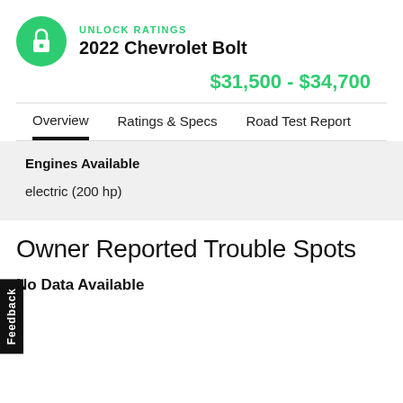UNLOCK RATINGS
2022 Chevrolet Bolt
$31,500 - $34,700
Overview   Ratings & Specs   Road Test Report
Engines Available
electric (200 hp)
Owner Reported Trouble Spots
No Data Available